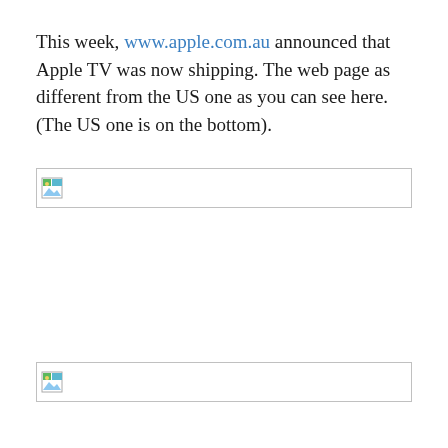This week, www.apple.com.au announced that Apple TV was now shipping. The web page as different from the US one as you can see here. (The US one is on the bottom).
[Figure (screenshot): Broken image placeholder showing a failed image load (top image)]
[Figure (screenshot): Broken image placeholder showing a failed image load (bottom image)]